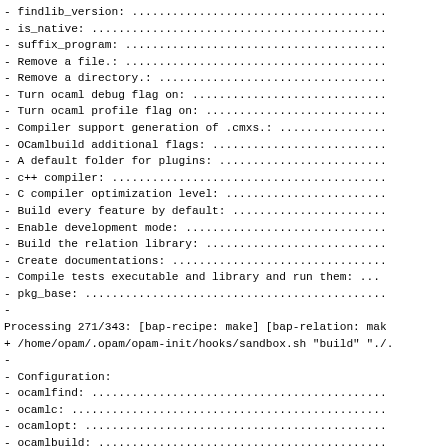- findlib_version: .......................................
- is_native: ............................................
- suffix_program: .......................................
- Remove a file.: .......................................
- Remove a directory.: ..................................
- Turn ocaml debug flag on: .............................
- Turn ocaml profile flag on: ...........................
- Compiler support generation of .cmxs.: ................
- OCamlbuild additional flags: ..........................
- A default folder for plugins: .........................
- c++ compiler: .........................................
- C compiler optimization level: ........................
- Build every feature by default: .......................
- Enable development mode: ..............................
- Build the relation library: ...........................
- Create documentations: ................................
- Compile tests executable and library and run them: ...
- pkg_base: .............................................
-
Processing 271/343: [bap-recipe: make] [bap-relation: mak
+ /home/opam/.opam/opam-init/hooks/sandbox.sh "build" "./.
-
- Configuration:
- ocamlfind: ............................................
- ocamlc: ...............................................
- ocamlopt: .............................................
- ocamlbuild: ...........................................
- Package name: .........................................
- Package version: ......................................
- os_type: ..............................................